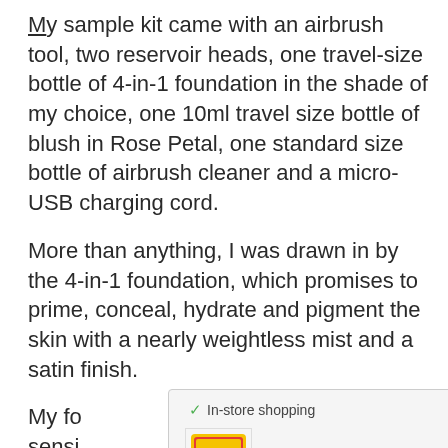My sample kit came with an airbrush tool, two reservoir heads, one travel-size bottle of 4-in-1 foundation in the shade of my choice, one 10ml travel size bottle of blush in Rose Petal, one standard size bottle of airbrush cleaner and a micro-USB charging cord.
More than anything, I was drawn in by the 4-in-1 foundation, which promises to prime, conceal, hydrate and pigment the skin with a nearly weightless mist and a satin finish.
My fo[undation is for] sensi[tive skin (r)], so I've b[een using mini]mal skinc[are...]
[Figure (other): Advertisement overlay showing 'In-store shopping' with a checkmark, a Lidl logo/product image, a blue diamond navigation arrow icon, a play button triangle, and an X close button.]